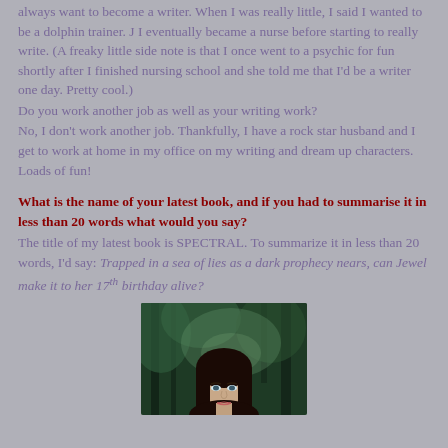always want to become a writer. When I was really little, I said I wanted to be a dolphin trainer. J I eventually became a nurse before starting to really write. (A freaky little side note is that I once went to a psychic for fun shortly after I finished nursing school and she told me that I'd be a writer one day. Pretty cool.)
Do you work another job as well as your writing work?
No, I don't work another job. Thankfully, I have a rock star husband and I get to work at home in my office on my writing and dream up characters. Loads of fun!
What is the name of your latest book, and if you had to summarise it in less than 20 words what would you say?
The title of my latest book is SPECTRAL. To summarize it in less than 20 words, I'd say: Trapped in a sea of lies as a dark prophecy nears, can Jewel make it to her 17th birthday alive?
[Figure (photo): Book cover image showing a young woman with dark hair against a dark forest/green background]